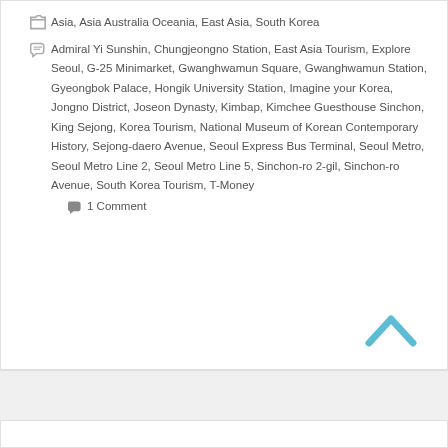Asia, Asia Australia Oceania, East Asia, South Korea
Admiral Yi Sunshin, Chungjeongno Station, East Asia Tourism, Explore Seoul, G-25 Minimarket, Gwanghwamun Square, Gwanghwamun Station, Gyeongbok Palace, Hongik University Station, Imagine your Korea, Jongno District, Joseon Dynasty, Kimbap, Kimchee Guesthouse Sinchon, King Sejong, Korea Tourism, National Museum of Korean Contemporary History, Sejong-daero Avenue, Seoul Express Bus Terminal, Seoul Metro, Seoul Metro Line 2, Seoul Metro Line 5, Sinchon-ro 2-gil, Sinchon-ro Avenue, South Korea Tourism, T-Money
1 Comment